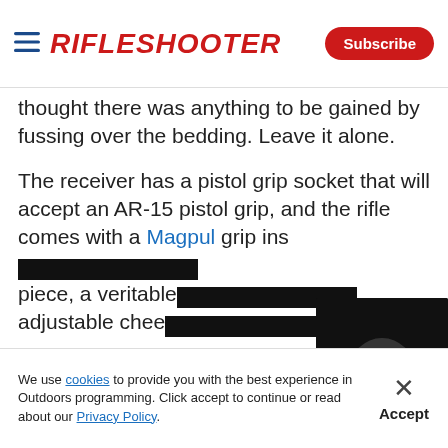RifleShooter — Subscribe
thought there was anything to be gained by fussing over the bedding. Leave it alone.
The receiver has a pistol grip socket that will accept an AR-15 pistol grip, and the rifle comes with a Magpul grip ins... piece, a veritable... adjustable chee...
[Figure (screenshot): Embedded video player with play button, progress bar and controls showing 00:00 / 02:35]
At first I thoug... my taste, but after trying it on the bench and do...
We use cookies to provide you with the best experience in Outdoors programming. Click accept to continue or read about our Privacy Policy.